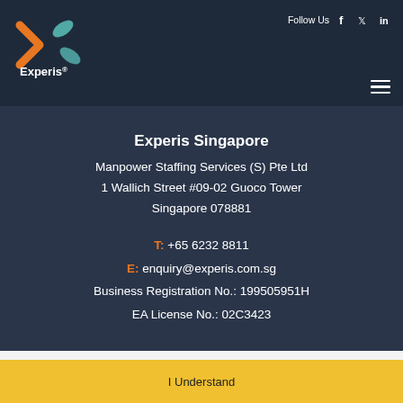[Figure (logo): Experis ManpowerGroup logo with orange chevron and teal X shape]
Follow Us  f  Twitter  in
Experis Singapore
Manpower Staffing Services (S) Pte Ltd
1 Wallich Street #09-02 Guoco Tower
Singapore 078881
T: +65 6232 8811
E: enquiry@experis.com.sg
Business Registration No.: 199505951H
EA License No.: 02C3423
This website uses cookies to ensure you get the best experience on our website. Learn More
I Understand